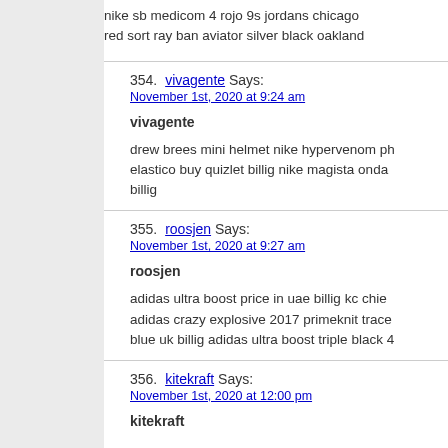nike sb medicom 4 rojo 9s jordans chicago red sort ray ban aviator silver black oakland
354. vivagente Says:
November 1st, 2020 at 9:24 am
vivagente
drew brees mini helmet nike hypervenom ph elastico buy quizlet billig nike magista onda billig
355. roosjen Says:
November 1st, 2020 at 9:27 am
roosjen
adidas ultra boost price in uae billig kc chie adidas crazy explosive 2017 primeknit trace blue uk billig adidas ultra boost triple black 4
356. kitekraft Says:
November 1st, 2020 at 12:00 pm
kitekraft